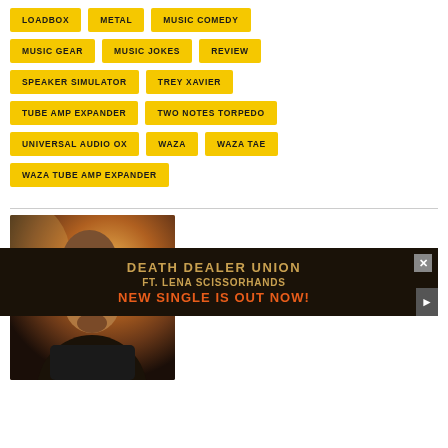LOADBOX
METAL
MUSIC COMEDY
MUSIC GEAR
MUSIC JOKES
REVIEW
SPEAKER SIMULATOR
TREY XAVIER
TUBE AMP EXPANDER
TWO NOTES TORPEDO
UNIVERSAL AUDIO OX
WAZA
WAZA TAE
WAZA TUBE AMP EXPANDER
[Figure (photo): Portrait of a bearded man wearing a black beanie hat and dark jacket, with warm golden/amber background lighting.]
DEATH DEALER UNION
FT. LENA SCISSORHANDS
NEW SINGLE IS OUT NOW!